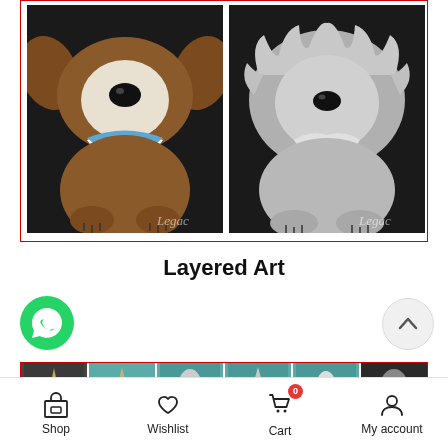[Figure (photo): Two cartoon dog illustrations on dark backgrounds. Left: brown dog with blue bandana, labeled 'Legacy'. Right: gray/white fluffy dog on dark background, labeled 'Legacy'. Both shown in a red-bordered product card box.]
Layered Art
[Figure (photo): WhatsApp green circle button icon on left side]
[Figure (photo): Scroll-up arrow button (chevron up) on right side]
[Figure (photo): Teal/dark product strip showing cropped animal art thumbnails at bottom]
Shop   Wishlist   Cart 0   My account